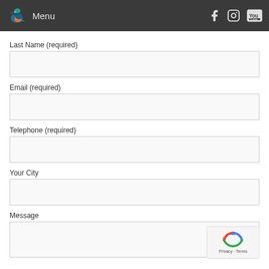Menu
Last Name (required)
Email (required)
Telephone (required)
Your City
Message